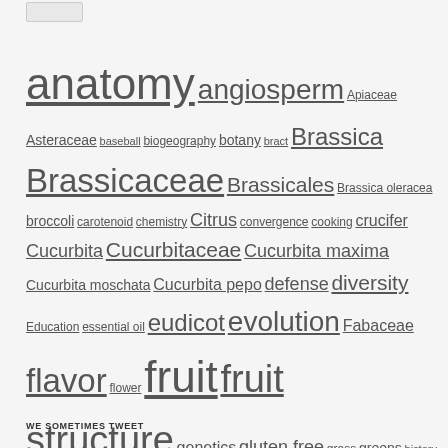[Figure (other): Small button/image at top left]
anatomy angiosperm Apiaceae Asteraceae baseball biogeography botany bract Brassica Brassicaceae Brassicales Brassica oleracea broccoli carotenoid chemistry Citrus convergence cooking crucifer Cucurbita Cucurbitaceae Cucurbita maxima Cucurbita moschata Cucurbita pepo defense diversity Education essential oil eudicot evolution Fabaceae flavor flower fruit fruit structure genetics gluten free grass greens history Jeanne L. D. Osnas kale Katherine Preston Lamiaceae Leaves legumes monocot morphology nectarine peach pepper phylogenetic relationships phylogeny Pieris rapae pigment Poaceae pollination Prunus pumpkin recipe Rosaceae Rosales Solanaceae spice spices stonefruit syrup terpene terpenoid Thanksgiving toxins trichome vegetable vegetables xylem
WE SOMETIMES TWEET